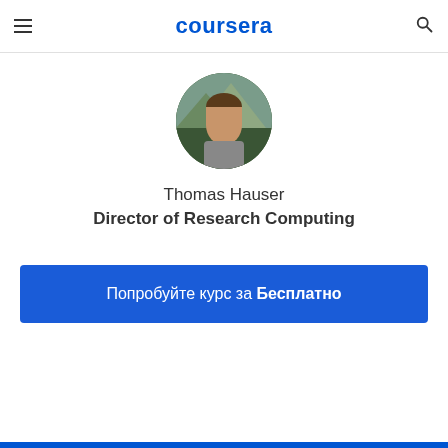coursera
[Figure (photo): Circular profile photo of Thomas Hauser, a man in a suit with trees and mountains in the background]
Thomas Hauser
Director of Research Computing
Попробуйте курс за Бесплатно